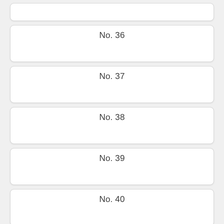No. 36
No. 37
No. 38
No. 39
No. 40